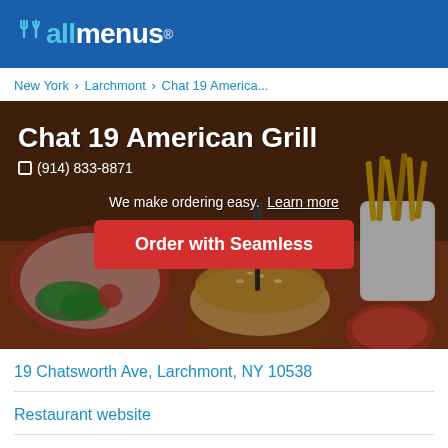[Figure (logo): allmenus logo with fork/knife icon on blue header bar]
New York > Larchmont > Chat 19 America...
[Figure (photo): Restaurant hero image showing burger, fries, and other food on a table with overlay text]
Chat 19 American Grill
(914) 833-8871
We make ordering easy. Learn more
Order with Seamless
19 Chatsworth Ave, Larchmont, NY 10538
Restaurant website
American